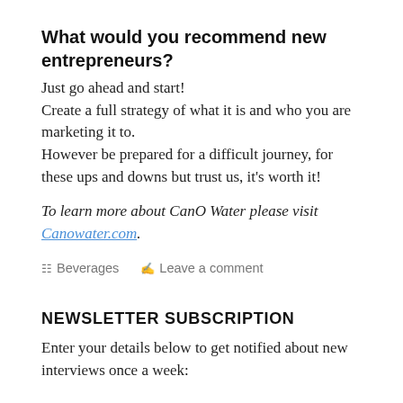What would you recommend new entrepreneurs?
Just go ahead and start!
Create a full strategy of what it is and who you are marketing it to.
However be prepared for a difficult journey, for these ups and downs but trust us, it's worth it!
To learn more about CanO Water please visit Canowater.com.
Beverages   Leave a comment
NEWSLETTER SUBSCRIPTION
Enter your details below to get notified about new interviews once a week: